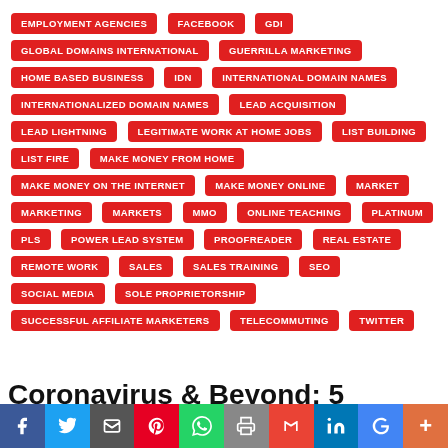EMPLOYMENT AGENCIES
FACEBOOK
GDI
GLOBAL DOMAINS INTERNATIONAL
GUERRILLA MARKETING
HOME BASED BUSINESS
IDN
INTERNATIONAL DOMAIN NAMES
INTERNATIONALIZED DOMAIN NAMES
LEAD ACQUISITION
LEAD LIGHTNING
LEGITIMATE WORK AT HOME JOBS
LIST BUILDING
LIST FIRE
MAKE MONEY FROM HOME
MAKE MONEY ON THE INTERNET
MAKE MONEY ONLINE
MARKET
MARKETING
MARKETS
MMO
ONLINE TEACHING
PLATINUM
PLS
POWER LEAD SYSTEM
PROOFREADER
REAL ESTATE
REMOTE WORK
SALES
SALES TRAINING
SEO
SOCIAL MEDIA
SOLE PROPRIETORSHIP
SUCCESSFUL AFFILIATE MARKETERS
TELECOMMUTING
TWITTER
Coronavirus & Beyond: 5 Financial
f  t  email  p  whatsapp  print  M  in  G  +